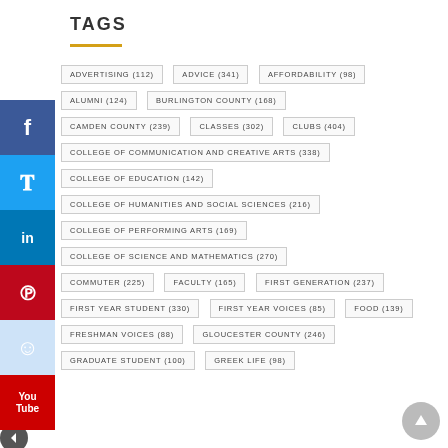TAGS
ADVERTISING (112), ADVICE (341), AFFORDABILITY (98), ALUMNI (124), BURLINGTON COUNTY (168), CAMDEN COUNTY (239), CLASSES (302), CLUBS (404), COLLEGE OF COMMUNICATION AND CREATIVE ARTS (338), COLLEGE OF EDUCATION (142), COLLEGE OF HUMANITIES AND SOCIAL SCIENCES (216), COLLEGE OF PERFORMING ARTS (169), COLLEGE OF SCIENCE AND MATHEMATICS (270), COMMUTER (225), FACULTY (165), FIRST GENERATION (237), FIRST YEAR STUDENT (330), FIRST YEAR VOICES (85), FOOD (139), FRESHMAN VOICES (88), GLOUCESTER COUNTY (246), GRADUATE STUDENT (100), GREEK LIFE (98)